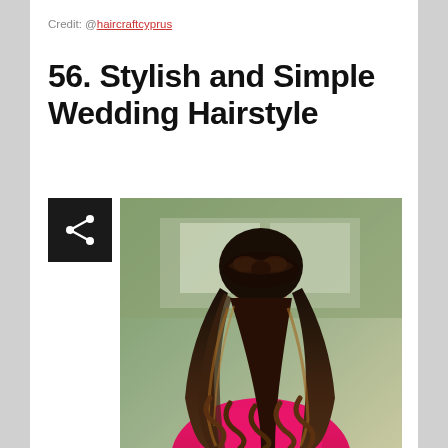Credit: @haircraftcyprus
56. Stylish and Simple Wedding Hairstyle
[Figure (photo): Back view of a woman with long wavy brown hair with caramel highlights, styled in a half-up twist/braid, wearing a pink/magenta top, with a blurred storefront background.]